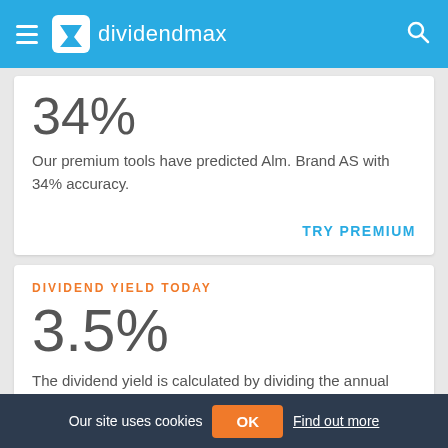dividendmax
34%
Our premium tools have predicted Alm. Brand AS with 34% accuracy.
TRY PREMIUM
DIVIDEND YIELD TODAY
3.5%
The dividend yield is calculated by dividing the annual dividend by the current share price.
Our site uses cookies  OK  Find out more